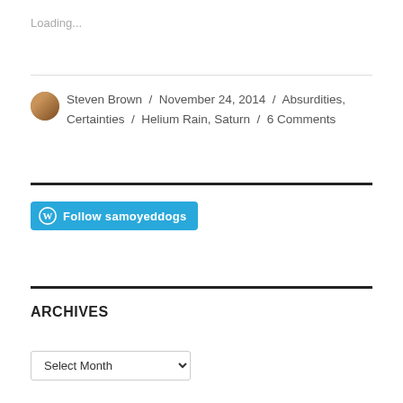Loading...
Steven Brown / November 24, 2014 / Absurdities, Certainties / Helium Rain, Saturn / 6 Comments
[Figure (other): Follow samoyeddogs WordPress follow button with WordPress logo icon]
ARCHIVES
Select Month (dropdown)